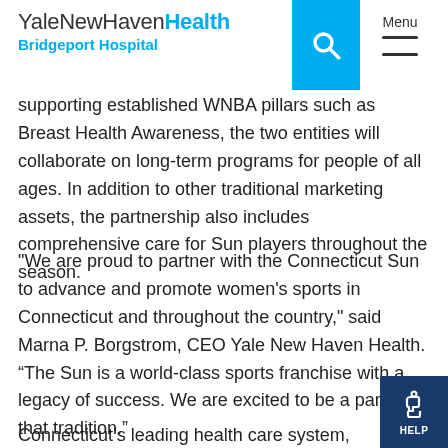YaleNewHavenHealth Bridgeport Hospital
supporting established WNBA pillars such as Breast Health Awareness, the two entities will collaborate on long-term programs for people of all ages. In addition to other traditional marketing assets, the partnership also includes comprehensive care for Sun players throughout the season.
"We are proud to partner with the Connecticut Sun to advance and promote women's sports in Connecticut and throughout the country," said Marna P. Borgstrom, CEO Yale New Haven Health. “The Sun is a world-class sports franchise with a legacy of success. We are excited to be a part of that tradition.”
Connecticut’s leading health care system, Yale New Haven